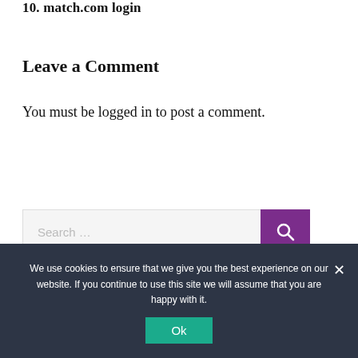10. match.com login
Leave a Comment
You must be logged in to post a comment.
[Figure (screenshot): Search bar with text 'Search ...' and a purple search button with magnifying glass icon]
We use cookies to ensure that we give you the best experience on our website. If you continue to use this site we will assume that you are happy with it.